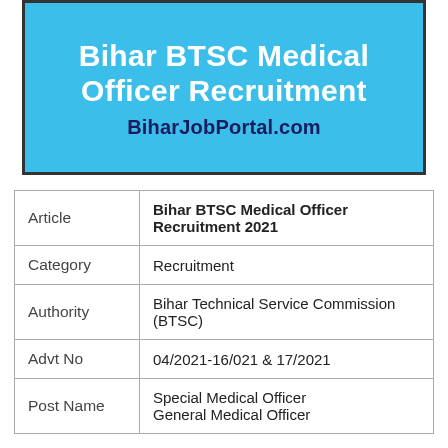[Figure (infographic): Blue banner with white bold text reading 'Bihar BTSC Medical Officer Recruitment' and dark blue text 'BiharJobPortal.com']
| Article | Bihar BTSC Medical Officer Recruitment 2021 |
| Category | Recruitment |
| Authority | Bihar Technical Service Commission (BTSC) |
| Advt No | 04/2021-16/021 & 17/2021 |
| Post Name | Special Medical Officer General Medical Officer |